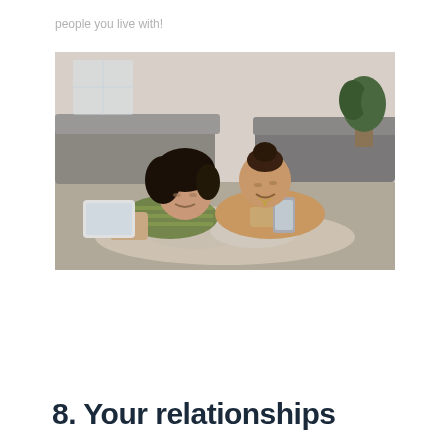people you live with!
[Figure (photo): Two young women lying on the floor, smiling and looking at a tablet and phone together in a modern living room setting.]
8. Your relationships